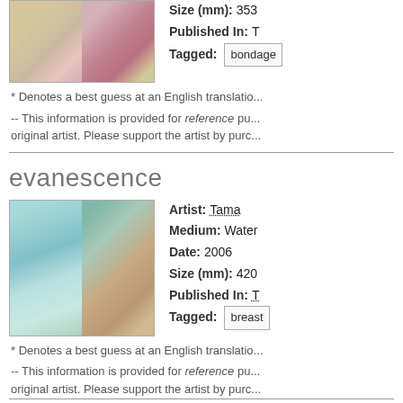[Figure (photo): Two-panel thumbnail image of a floral artwork with pink flowers and beige/brown textures]
Size (mm): 353
Published In: T
Tagged: bondage
* Denotes a best guess at an English translation
-- This information is provided for reference purposes only and is not endorsed by the original artist. Please support the artist by purchasing their work.
evanescence
[Figure (photo): Two-panel thumbnail image of a watercolor painting showing mermaids/figures in teal and earth tones]
Artist: Tama
Medium: Water
Date: 2006
Size (mm): 420
Published In: T
Tagged: breast
* Denotes a best guess at an English translation
-- This information is provided for reference purposes only and is not endorsed by the original artist. Please support the artist by purchasing their work.